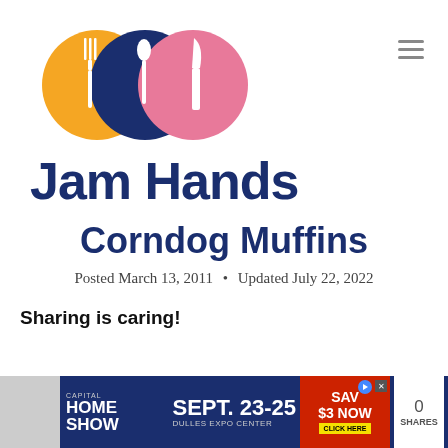[Figure (logo): Jam Hands website logo: three overlapping circles (orange with fork, dark blue with spoon, pink with knife) above the bold text 'Jam Hands']
Corndog Muffins
Posted March 13, 2011 • Updated July 22, 2022
Sharing is caring!
[Figure (screenshot): Advertisement banner: Capital Home Show Sept. 23-25 Dulles Expo Center, Save $3 Now Click Here]